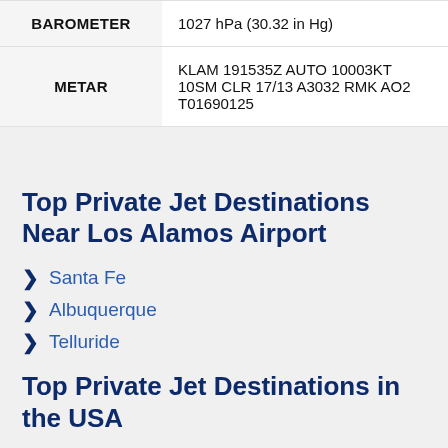| Field | Value |
| --- | --- |
| BAROMETER | 1027 hPa (30.32 in Hg) |
| METAR | KLAM 191535Z AUTO 10003KT 10SM CLR 17/13 A3032 RMK AO2 T01690125 |
Top Private Jet Destinations Near Los Alamos Airport
Santa Fe
Albuquerque
Telluride
Top Private Jet Destinations in the USA